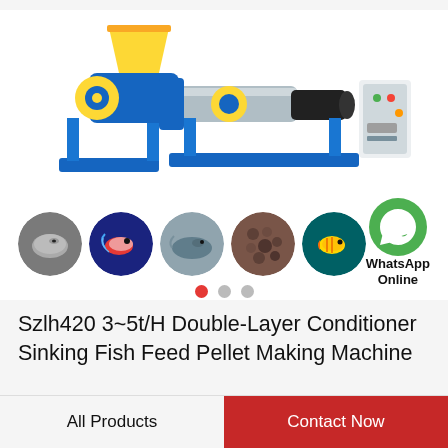[Figure (photo): Blue and yellow fish feed pellet making machine (Szlh420) with hopper on top, extruder barrel, motor, and control panel on the right. Below: five circular thumbnails showing fish, colorful fish, catfish, pellets, tropical fish. A WhatsApp green phone icon with text 'WhatsApp Online' appears at the right. Three navigation dots below the slideshow (first red/active, two grey).]
Szlh420 3~5t/H Double-Layer Conditioner Sinking Fish Feed Pellet Making Machine
All Products
Contact Now